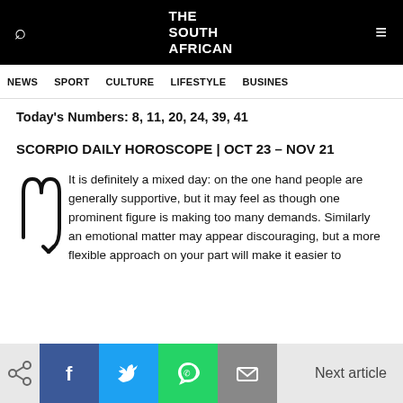THE SOUTH AFRICAN
NEWS  SPORT  CULTURE  LIFESTYLE  BUSINESS
Today's Numbers: 8, 11, 20, 24, 39, 41
SCORPIO DAILY HOROSCOPE | OCT 23 – NOV 21
It is definitely a mixed day: on the one hand people are generally supportive, but it may feel as though one prominent figure is making too many demands. Similarly an emotional matter may appear discouraging, but a more flexible approach on your part will make it easier to
Next article